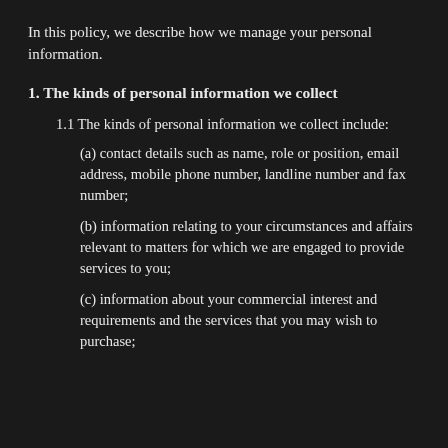In this policy, we describe how we manage your personal information.
1. The kinds of personal information we collect
1.1 The kinds of personal information we collect include:
(a) contact details such as name, role or position, email address, mobile phone number, landline number and fax number;
(b) information relating to your circumstances and affairs relevant to matters for which we are engaged to provide services to you;
(c) information about your commercial interest and requirements and the services that you may wish to purchase;